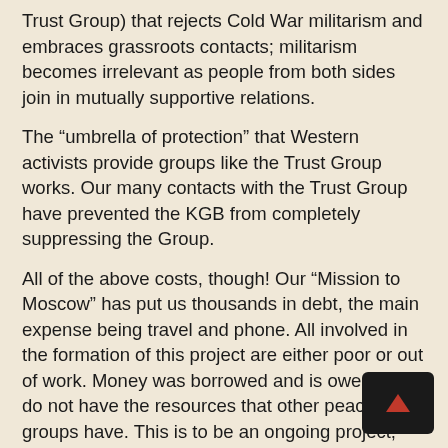Trust Group) that rejects Cold War militarism and embraces grassroots contacts; militarism becomes irrelevant as people from both sides join in mutually supportive relations.
The “umbrella of protection” that Western activists provide groups like the Trust Group works. Our many contacts with the Trust Group have prevented the KGB from completely suppressing the Group.
All of the above costs, though! Our “Mission to Moscow” has put us thousands in debt, the main expense being travel and phone. All involved in the formation of this project are either poor or out of work. Money was borrowed and is owed. We do not have the resources that other peace groups have. This is to be an ongoing project, and couriers must be sent at regular intervals.
Please help us. Additional monies can help send others.